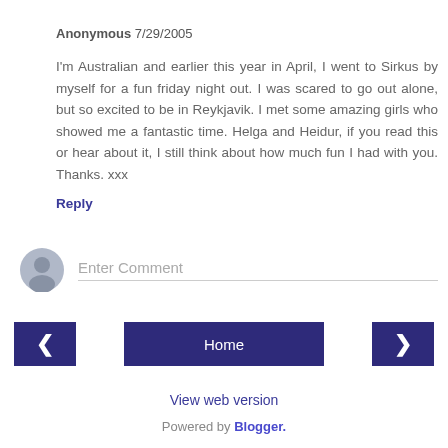Anonymous 7/29/2005
I'm Australian and earlier this year in April, I went to Sirkus by myself for a fun friday night out. I was scared to go out alone, but so excited to be in Reykjavik. I met some amazing girls who showed me a fantastic time. Helga and Heidur, if you read this or hear about it, I still think about how much fun I had with you. Thanks. xxx
Reply
[Figure (other): Enter Comment input field with user avatar icon]
< | Home | >
View web version
Powered by Blogger.